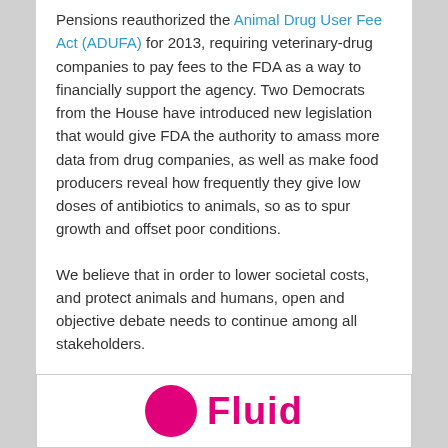Pensions reauthorized the Animal Drug User Fee Act (ADUFA) for 2013, requiring veterinary-drug companies to pay fees to the FDA as a way to financially support the agency. Two Democrats from the House have introduced new legislation that would give FDA the authority to amass more data from drug companies, as well as make food producers reveal how frequently they give low doses of antibiotics to animals, so as to spur growth and offset poor conditions.
We believe that in order to lower societal costs, and protect animals and humans, open and objective debate needs to continue among all stakeholders.
Conceived, Developed and Written by Dr. Subodh Das and Tara Mahadevan
April 29, 2013
[Figure (logo): Fluid logo with pink circle and pink bold text reading 'Fluid']